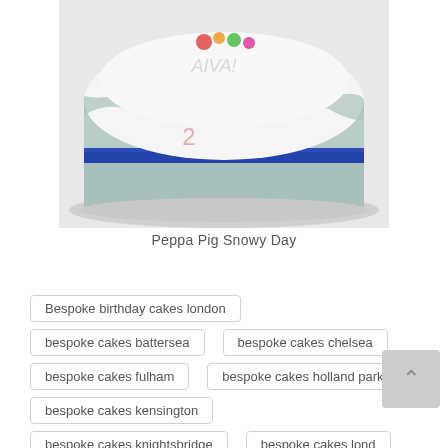[Figure (photo): A birthday cake decorated in Peppa Pig Snowy Day theme. The cake has a white fondant top with the name 'AIVA' written on it and colorful Peppa Pig figures. The sides are light teal/grey with a prominent blue satin ribbon band around the middle. The cake sits on a round board.]
Peppa Pig Snowy Day
Bespoke birthday cakes london
bespoke cakes battersea
bespoke cakes chelsea
bespoke cakes fulham
bespoke cakes holland park
bespoke cakes kensington
bespoke cakes knightsbridge
bespoke cakes lond
birthday cakes battersea
birthday cakes chelsea